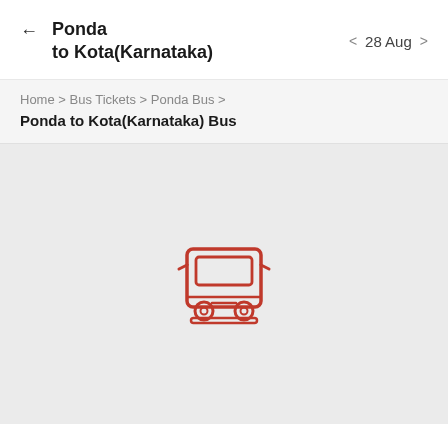Ponda to Kota(Karnataka)  < 28 Aug >
Home > Bus Tickets > Ponda Bus >
Ponda to Kota(Karnataka) Bus
[Figure (illustration): Bus icon (front view) rendered in red outline style on a light grey background, indicating no bus results found.]